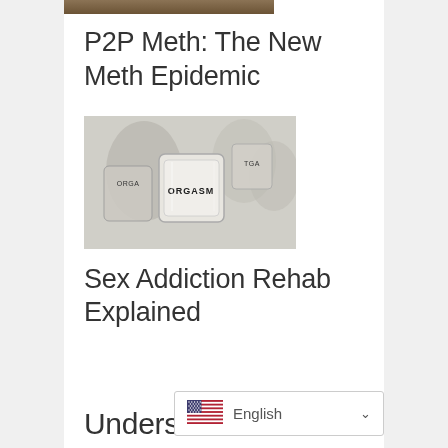[Figure (photo): Partial photo at top, cropped, showing some scene related to the article above]
P2P Meth: The New Meth Epidemic
[Figure (photo): Black and white photo of laboratory glassware/containers labeled with words including ORGASM]
Sex Addiction Rehab Explained
[Figure (other): US flag icon]
English
Underst...